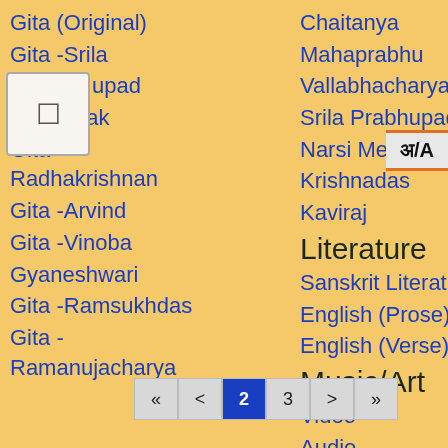Gita (Original)
Gita -Srila
upad
Gita -Tilak
Gita - Radhakrishnan
Gita -Arvind
Gita -Vinoba
Gyaneshwari
Gita -Ramsukhdas
Gita - Ramanujacharya
Chaitanya
Mahaprabhu
Vallabhacharya
Srila Prabhupad
Narsi Mehta
Krishnadas
Kaviraj
Literature
Sanskrit Literature
English (Prose)
English (Verse)
Music/Art
Video
Audio
Drawing